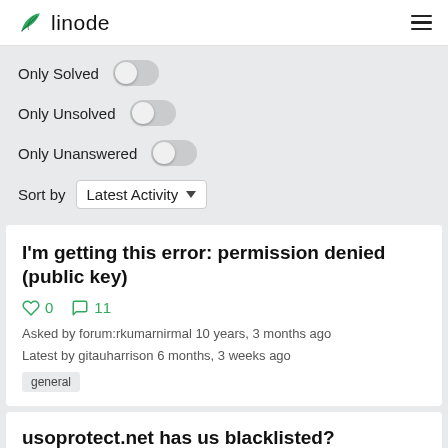linode
Only Solved
Only Unsolved
Only Unanswered
Sort by: Latest Activity
I'm getting this error: permission denied (public key)
0  11
Asked by forum:rkumarnirmal 10 years, 3 months ago
Latest by gitauharrison 6 months, 3 weeks ago
general
usoprotect.net has us blacklisted?